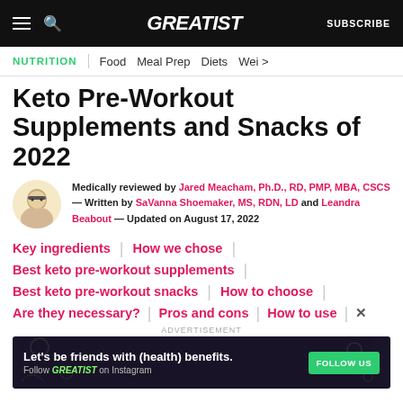GREATIST | SUBSCRIBE
NUTRITION | Food | Meal Prep | Diets | Wei >
Keto Pre-Workout Supplements and Snacks of 2022
Medically reviewed by Jared Meacham, Ph.D., RD, PMP, MBA, CSCS — Written by SaVanna Shoemaker, MS, RDN, LD and Leandra Beabout — Updated on August 17, 2022
Key ingredients
How we chose
Best keto pre-workout supplements
Best keto pre-workout snacks
How to choose
Are they necessary?
Pros and cons
How to use
ADVERTISEMENT
[Figure (infographic): Advertisement banner: Let's be friends with (health) benefits. Follow GREATIST on Instagram. FOLLOW US button.]